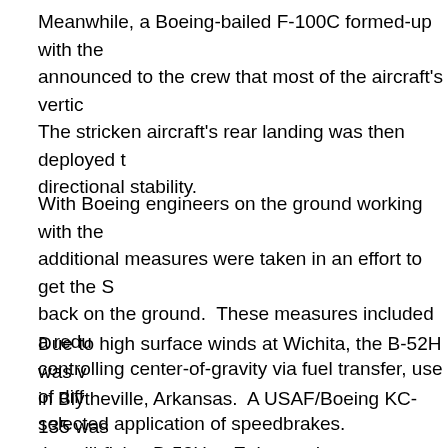Meanwhile, a Boeing-bailed F-100C formed-up with the announced to the crew that most of the aircraft's vertic The stricken aircraft's rear landing was then deployed t directional stability.
With Boeing engineers on the ground working with the additional measures were taken in an effort to get the S back on the ground. These measures included a redu controlling center-of-gravity via fuel transfer, use of diff selected application of speedbrakes.
Due to high surface winds at Wichita, the B-52H was v in Blytheville, Arkansas. A USAF/Boeing KC-135 was the still-flying B-52H to Eaker and to serve as an airbo both aircraft proceeded to the base. Amazingly, after f vertical tail, the Stratofortress and her crew landed safe